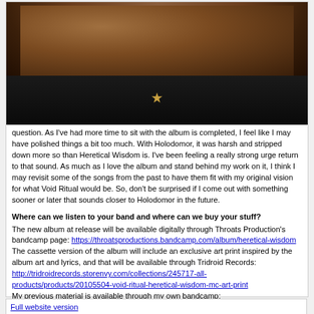[Figure (photo): Photo of a person with curly brown hair, wearing a dark black shirt and a gold necklace pendant, viewed from behind/side angle.]
question. As I've had more time to sit with the album is completed, I feel like I may have polished things a bit too much. With Holodomor, it was harsh and stripped down more so than Heretical Wisdom is. I've been feeling a really strong urge return to that sound. As much as I love the album and stand behind my work on it, I think I may revisit some of the songs from the past to have them fit with my original vision for what Void Ritual would be. So, don't be surprised if I come out with something sooner or later that sounds closer to Holodomor in the future.
Where can we listen to your band and where can we buy your stuff?
The new album at release will be available digitally through Throats Production's bandcamp page: https://throatsproductions.bandcamp.com/album/heretical-wisdom
The cassette version of the album will include an exclusive art print inspired by the album art and lyrics, and that will be available through Tridroid Records:
http://tridroidrecords.storenvy.com/collections/245717-all-products/products/20105504-void-ritual-heretical-wisdom-mc-art-print
My previous material is available through my own bandcamp:
https://voidritual.bandcamp.com/
Thank you for giving me your space and platform to talk a bit about Void Ritual. I hope everyone who checks it out gets something out of it!
July 2017
Full website version